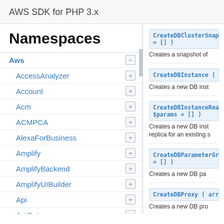AWS SDK for PHP 3.x
Namespaces
Aws
AccessAnalyzer
Account
Acm
ACMPCA
AlexaForBusiness
Amplify
AmplifyBackend
AmplifyUIBuilder
Api
ApiGateway
ApiGatewayManagementApi
CreateDBClusterSnap = [] )
Creates a snapshot of
CreateDBInstance (
Creates a new DB inst
CreateDBInstanceRea $params = [] )
Creates a new DB inst replica for an existing s
CreateDBParameterGr = [] )
Creates a new DB pa
CreateDBProxy ( arr
Creates a new DB pro